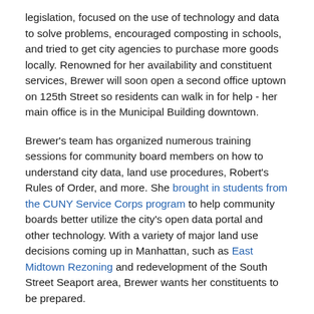legislation, focused on the use of technology and data to solve problems, encouraged composting in schools, and tried to get city agencies to purchase more goods locally. Renowned for her availability and constituent services, Brewer will soon open a second office uptown on 125th Street so residents can walk in for help - her main office is in the Municipal Building downtown.
Brewer's team has organized numerous training sessions for community board members on how to understand city data, land use procedures, Robert's Rules of Order, and more. She brought in students from the CUNY Service Corps program to help community boards better utilize the city's open data portal and other technology. With a variety of major land use decisions coming up in Manhattan, such as East Midtown Rezoning and redevelopment of the South Street Seaport area, Brewer wants her constituents to be prepared.